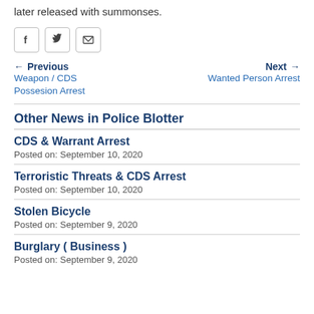later released with summonses.
[Figure (other): Social sharing icons: Facebook, Twitter, Email]
← Previous
Weapon / CDS Possesion Arrest
Next →
Wanted Person Arrest
Other News in Police Blotter
CDS & Warrant Arrest
Posted on: September 10, 2020
Terroristic Threats & CDS Arrest
Posted on: September 10, 2020
Stolen Bicycle
Posted on: September 9, 2020
Burglary ( Business )
Posted on: September 9, 2020